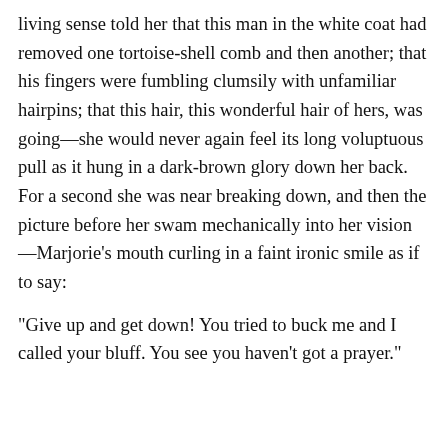living sense told her that this man in the white coat had removed one tortoise-shell comb and then another; that his fingers were fumbling clumsily with unfamiliar hairpins; that this hair, this wonderful hair of hers, was going—she would never again feel its long voluptuous pull as it hung in a dark-brown glory down her back. For a second she was near breaking down, and then the picture before her swam mechanically into her vision —Marjorie's mouth curling in a faint ironic smile as if to say:
"Give up and get down! You tried to buck me and I called your bluff. You see you haven't got a prayer."